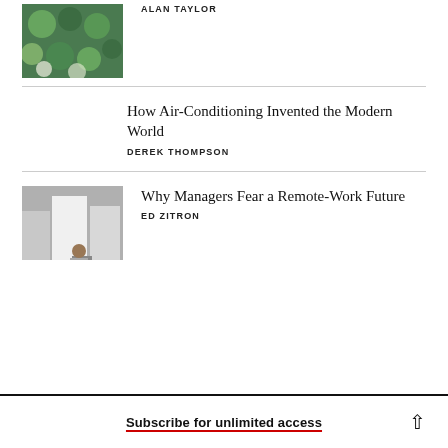[Figure (photo): Overhead view of green and white circular plates/art pieces]
ALAN TAYLOR
How Air-Conditioning Invented the Modern World
DEREK THOMPSON
[Figure (photo): Office interior with white partition panels and a person sitting]
Why Managers Fear a Remote-Work Future
ED ZITRON
Subscribe for unlimited access